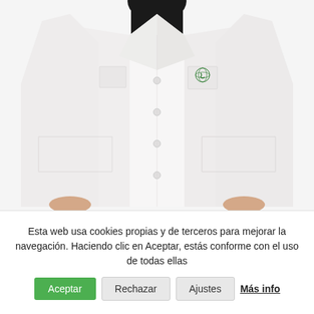[Figure (photo): A person wearing a white lab coat/pharmacist coat with a green logo/emblem on the left chest pocket. The person is wearing a dark shirt underneath. Only the torso and hands are visible, no face shown. Background is white/light grey.]
Esta web usa cookies propias y de terceros para mejorar la navegación. Haciendo clic en Aceptar, estás conforme con el uso de todas ellas